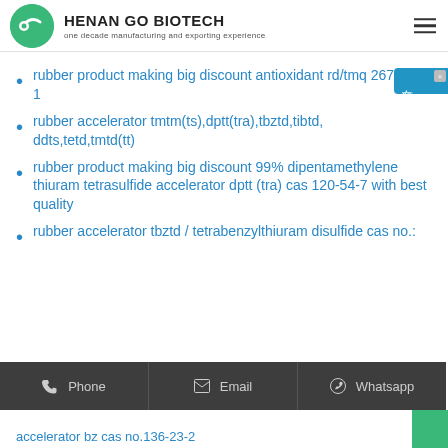HENAN GO BIOTECH | one decade manufacturing and exporting experience
rubber product making big discount antioxidant rd/tmq 26780-96-1
rubber accelerator tmtm(ts),dptt(tra),tbztd,tibtd,ddts,tetd,tmtd(tt)
rubber product making big discount 99% dipentamethylene thiuram tetrasulfide accelerator dptt (tra) cas 120-54-7 with best quality
rubber accelerator tbztd / tetrabenzylthiuram disulfide cas no.:
Phone  Email  Whatsapp
accelerator bz cas no.136-23-2